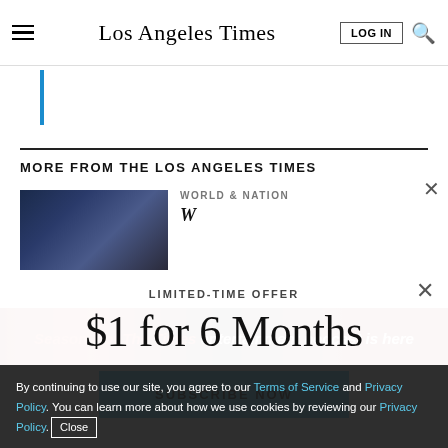Los Angeles Times
MORE FROM THE LOS ANGELES TIMES
WORLD & NATION
[Figure (photo): Dark blue abstract architectural image]
LIMITED-TIME OFFER
$1 for 6 Months
SUBSCRIBE NOW
By continuing to use our site, you agree to our Terms of Service and Privacy Policy. You can learn more about how we use cookies by reviewing our Privacy Policy. Close
Season 3 of The Times entertainment podcast is here